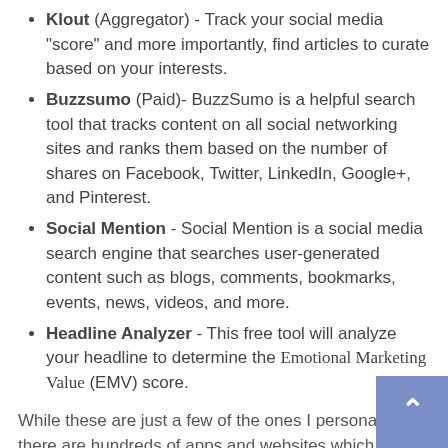Klout (Aggregator) - Track your social media "score" and more importantly, find articles to curate based on your interests.
Buzzsumo (Paid)- BuzzSumo is a helpful search tool that tracks content on all social networking sites and ranks them based on the number of shares on Facebook, Twitter, LinkedIn, Google+, and Pinterest.
Social Mention - Social Mention is a social media search engine that searches user-generated content such as blogs, comments, bookmarks, events, news, videos, and more.
Headline Analyzer - This free tool will analyze your headline to determine the Emotional Marketing Value (EMV) score.
While these are just a few of the ones I personally use, there are hundreds of apps and websites which can help you with content curation (either aggregators, dashboard organizers, or management/scheduling). A quick Google search will give you a bajillion lists like "Top xxxx Content Tools".
Creation vs Curation
By now, the S.C.O.P.e. is becoming more specific. All...